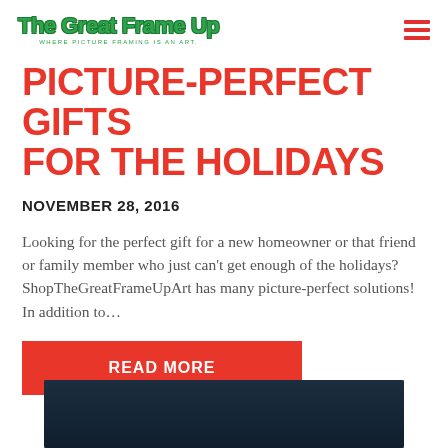The Great Frame Up — WHERE PICTURE FRAMING IS AN ART.
PICTURE-PERFECT GIFTS FOR THE HOLIDAYS
NOVEMBER 28, 2016
Looking for the perfect gift for a new homeowner or that friend or family member who just can't get enough of the holidays? ShopTheGreatFrameUpArt has many picture-perfect solutions! In addition to…
READ MORE
[Figure (photo): Dark blue/teal background image at the bottom of the page, partially visible]